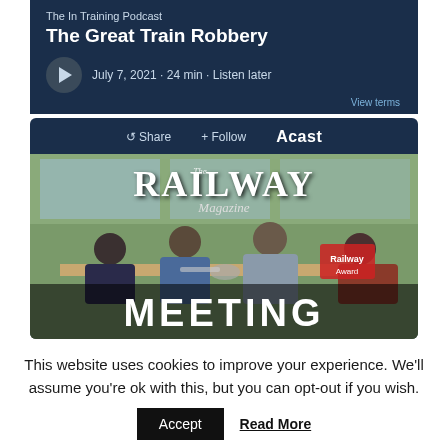The In Training Podcast
The Great Train Robbery
July 7, 2021 · 24 min · Listen later
View terms
Share  + Follow  Acast
[Figure (photo): The Railway Magazine podcast cover showing people at a meeting table with text MEETING overlaid]
This website uses cookies to improve your experience. We'll assume you're ok with this, but you can opt-out if you wish.
Accept  Read More